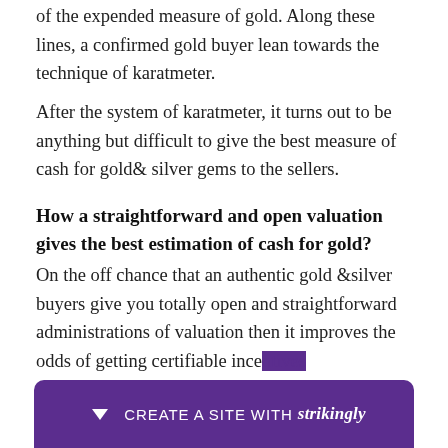of the expended measure of gold. Along these lines, a confirmed gold buyer lean towards the technique of karatmeter.
After the system of karatmeter, it turns out to be anything but difficult to give the best measure of cash for gold& silver gems to the sellers.
How a straightforward and open valuation gives the best estimation of cash for gold?
On the off chance that an authentic gold &silver buyers give you totally open and straightforward administrations of valuation then it improves the odds of getting certifiable ince[ntives] usin[g]
[Figure (other): Strikingly website builder promotional banner bar at the bottom of the page with purple background, a downward arrow icon, and text 'CREATE A SITE WITH strikingly']